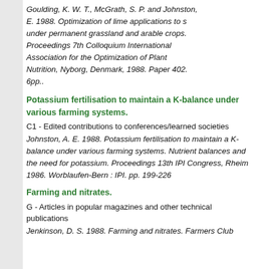Goulding, K. W. T., McGrath, S. P. and Johnston, E. 1988. Optimization of lime applications to s under permanent grassland and arable crops. Proceedings 7th Colloquium International Association for the Optimization of Plant Nutrition, Nyborg, Denmark, 1988. Paper 402. 6pp..
Potassium fertilisation to maintain a K-balance under various farming systems.
C1 - Edited contributions to conferences/learned societies
Johnston, A. E. 1988. Potassium fertilisation to maintain a K-balance under various farming systems. Nutrient balances and the need for potassium. Proceedings 13th IPI Congress, Rheim 1986. Worblaufen-Bern : IPI. pp. 199-226
Farming and nitrates.
G - Articles in popular magazines and other technical publications
Jenkinson, D. S. 1988. Farming and nitrates. Farmers Club